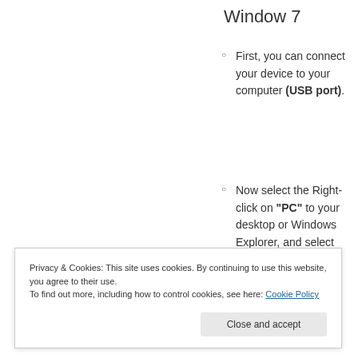Window 7
First, you can connect your device to your computer (USB port).
Now select the Right-click on “PC” to your desktop or Windows Explorer, and select “Manage”.
Privacy & Cookies: This site uses cookies. By continuing to use this website, you agree to their use.
To find out more, including how to control cookies, see here: Cookie Policy
Close and accept